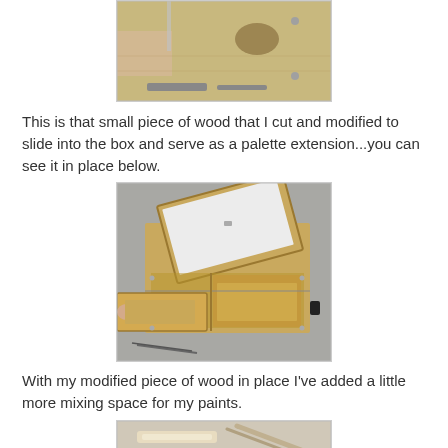[Figure (photo): Top partial photo: hands working on a wooden box with tools on a workbench, showing the inside of a wooden box/palette with an oval cutout and screws.]
This is that small piece of wood that I cut and modified to slide into the box and serve as a palette extension...you can see it in place below.
[Figure (photo): Middle photo: open wooden artist palette box sitting on a concrete surface, lid propped open showing a white panel, with a drawer pulled out from the bottom revealing an extra wooden insert piece inside, black knob visible on the side, and brushes/tools beside.]
With my modified piece of wood in place I've added a little more mixing space for my paints.
[Figure (photo): Bottom partial photo: close-up of brushes or tools on a light background, partially cropped.]